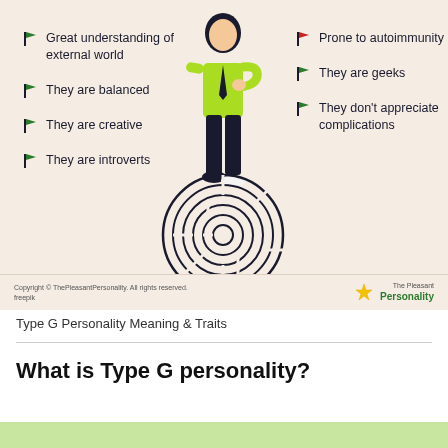[Figure (infographic): Infographic showing a person standing on a circular maze/labyrinth, with green flag bullet points on the left listing traits (Great understanding of external world, They are balanced, They are creative, They are introverts) and on the right (Prone to autoimmunity shown with red flag, They are geeks, They don't appreciate complications) for Type G Personality. Copyright TheePleasantPersonality logo at bottom right.]
Type G Personality Meaning & Traits
What is Type G personality?